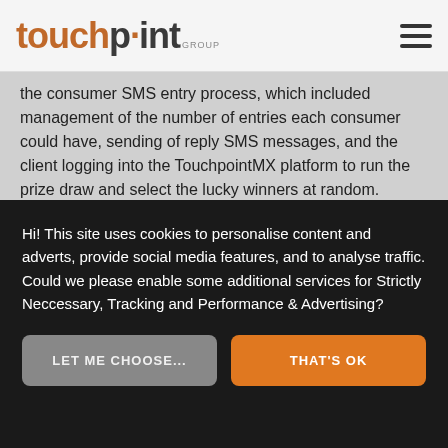touchpoint GROUP
the consumer SMS entry process, which included management of the number of entries each consumer could have, sending of reply SMS messages, and the client logging into the TouchpointMX platform to run the prize draw and select the lucky winners at random.
The feedback from the client and agency was very positive with entrants number exceeding expectations. TouchpointMX made the entry and prize draw process simple and efficient while being robust and secure.
Hi! This site uses cookies to personalise content and adverts, provide social media features, and to analyse traffic. Could we please enable some additional services for Strictly Neccessary, Tracking and Performance & Advertising?
LET ME CHOOSE...
THAT'S OK